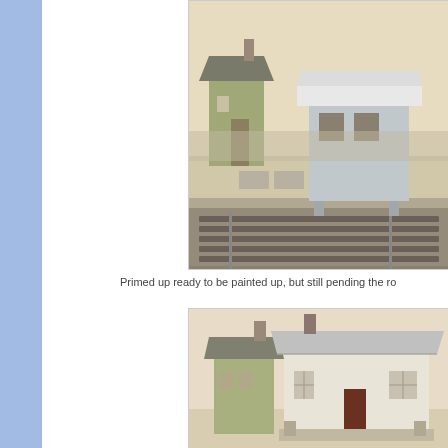[Figure (photo): Model railway scene showing two small buildings (a green shed and a grey platform shelter) next to model train tracks with ballast and platform, viewed from above at an angle.]
Primed up ready to be painted up, but still pending the ro
[Figure (photo): Model railway buildings viewed from the front: a small green shed with chimney and a larger white/grey station building with brown door and windows.]